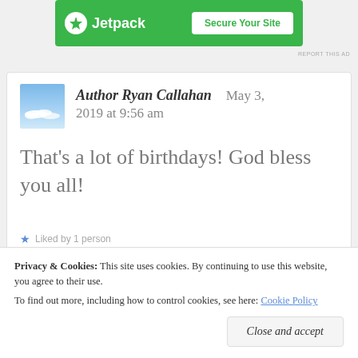[Figure (logo): Jetpack ad banner with green background, Jetpack logo and 'Secure Your Site' button]
REPORT THIS AD
[Figure (photo): Avatar image showing blue sky and clouds]
Author Ryan Callahan   May 3, 2019 at 9:56 am
That's a lot of birthdays! God bless you all!
Liked by 1 person
Privacy & Cookies: This site uses cookies. By continuing to use this website, you agree to their use.
To find out more, including how to control cookies, see here: Cookie Policy
Close and accept